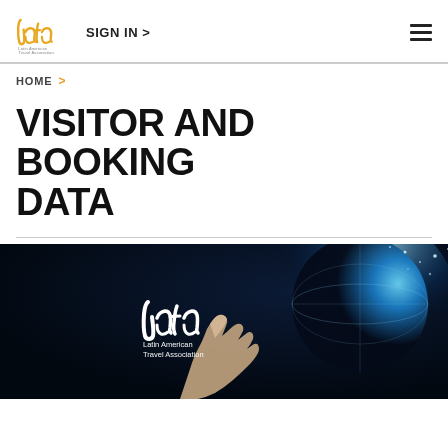SIGN IN >
HOME >
VISITOR AND BOOKING DATA
[Figure (photo): Dark banner image with LATA (Latin American Travel Association) white logo and tagline on left, glowing blue digital globe with hand reaching toward it on the right.]